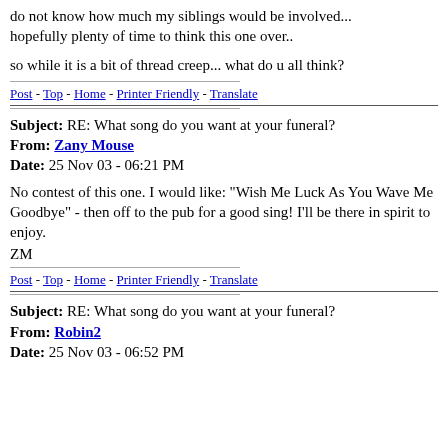do not know how much my siblings would be involved... hopefully plenty of time to think this one over..
so while it is a bit of thread creep... what do u all think?
Post - Top - Home - Printer Friendly - Translate
Subject: RE: What song do you want at your funeral?
From: Zany Mouse
Date: 25 Nov 03 - 06:21 PM
No contest of this one. I would like: "Wish Me Luck As You Wave Me Goodbye" - then off to the pub for a good sing! I'll be there in spirit to enjoy.
ZM
Post - Top - Home - Printer Friendly - Translate
Subject: RE: What song do you want at your funeral?
From: Robin2
Date: 25 Nov 03 - 06:52 PM